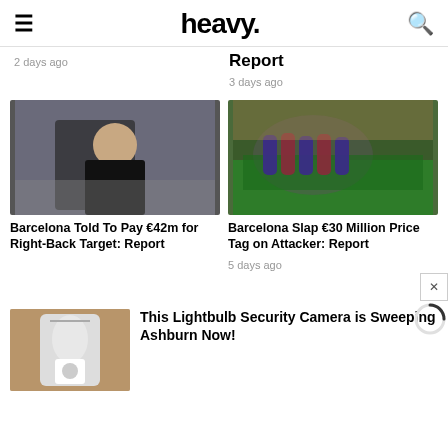heavy.
2 days ago
Report
3 days ago
[Figure (photo): Man in black shirt gesturing, crowd in background (Xavi)]
[Figure (photo): Barcelona football players in huddle on pitch with crowd in background]
Barcelona Told To Pay €42m for Right-Back Target: Report
Barcelona Slap €30 Million Price Tag on Attacker: Report
5 days ago
[Figure (photo): Hand holding a lightbulb security camera device]
This Lightbulb Security Camera is Sweeping Ashburn Now!